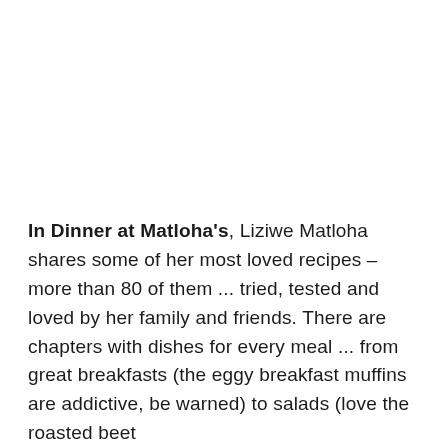In Dinner at Matloha's, Liziwe Matloha shares some of her most loved recipes – more than 80 of them ... tried, tested and loved by her family and friends. There are chapters with dishes for every meal ... from great breakfasts (the eggy breakfast muffins are addictive, be warned) to salads (love the roasted beet